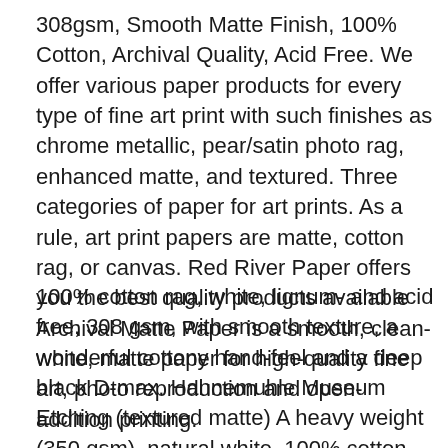308gsm, Smooth Matte Finish, 100% Cotton, Archival Quality, Acid Free. We offer various paper products for every type of fine art print with such finishes as chrome metallic, pear/satin photo rag, enhanced matte, and textured. Three categories of paper for art prints. As a rule, art print papers are matte, cotton rag, or canvas. Red River Paper offers you the best quality products available  Archival Matte Paper is a smooth, clean-white, matte paper for high-quality fine art, photo reproduction and open-addition printing.
100% cotton rag, white, lignum- and acid free, 308 gsm, with smooth texture, a wonderful cottony hand-feel and a deep black D-max. Hahnemuhle Museum Etching (textured matte) A heavy weight (350 gsm), natural white, 100% cotton rag art paper,